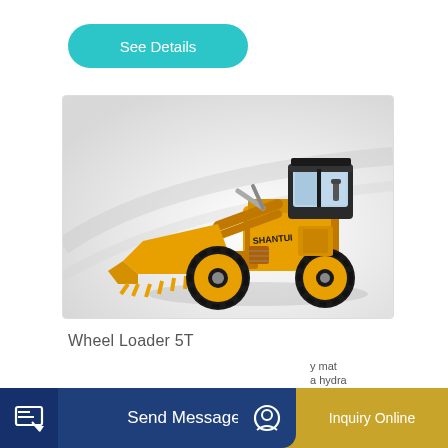See Details
[Figure (photo): Yellow Shantui Wheel Loader 5T construction machine with front bucket and large black tires, against a light grey background]
Wheel Loader 5T
y mat
a hydra
Send Message
Inquiry Online